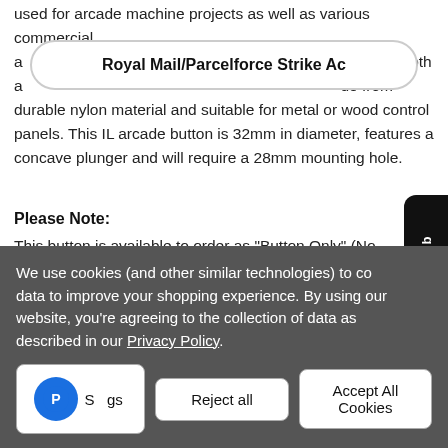used for arcade machine projects as well as various commercial a... n, photo booth a... de from durable nylon material and suitable for metal or wood control panels. This IL arcade button is 32mm in diameter, features a concave plunger and will require a 28mm mounting hole.
Royal Mail/Parcelforce Strike Ac
AWUK Rewards Club
Please Note:
This button is available to order as "Button Only" (No micros OR "With E-Switch Microswitch" If you require alternative switches, these can be ordered separately
We use cookies (and other similar technologies) to co... data to improve your shopping experience. By using our website, you're agreeing to the collection of data as described in our Privacy Policy.
Settings | Reject all | Accept All Cookies